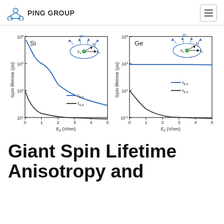PING GROUP
[Figure (continuous-plot): Two side-by-side log-scale plots of spin lifetime (ps) vs E_z (V/nm) for Si (left) and Ge (right). Each plot shows two curves: tau_s,z (blue, higher) and tau_s,x (dark grey, lower). Si plot y-axis ranges from ~10^1 to 10^4, Ge plot from ~10^-1 to 10^5. X-axis 0-5 V/nm for both. Each plot has an inset diagram of an ellipse with k_y, k_x arrows and B^in and E_z labels.]
Giant Spin Lifetime Anisotropy and